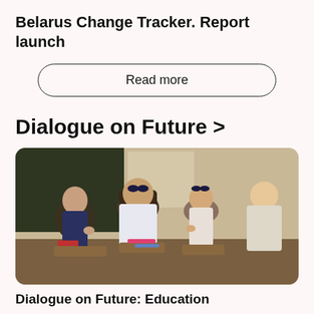Belarus Change Tracker. Report launch
Read more
Dialogue on Future >
[Figure (photo): Children sitting at desks in a classroom viewed from behind, a chalkboard visible in the background]
Dialogue on Future: Education